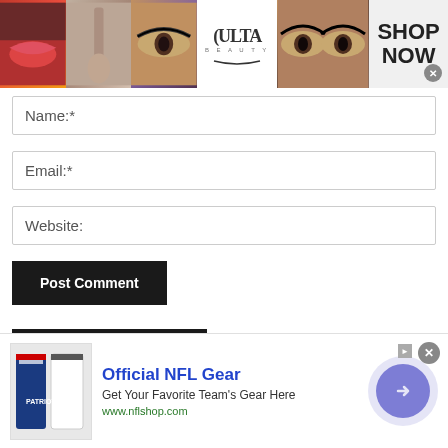[Figure (photo): Ulta Beauty advertisement banner with cosmetics images (lips with brush, makeup brush, eye with eyeliner, Ulta logo, eyes with dramatic eye makeup) and 'SHOP NOW' call to action with close button]
Name:*
Email:*
Website:
Post Comment
* SEARCH THE SITE! *
[Figure (screenshot): NFL Shop advertisement with team jerseys image, 'Official NFL Gear' title in blue, 'Get Your Favorite Team's Gear Here' description, 'www.nflshop.com' URL in green, and a purple circular arrow button. Has a close X button and AdChoices icon.]